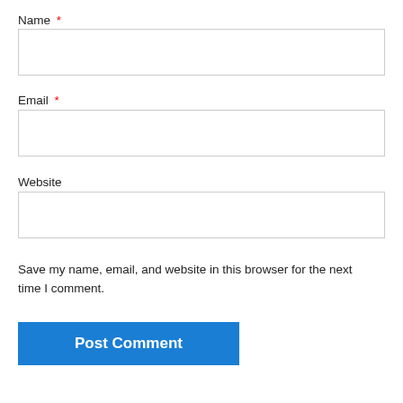Name *
[Figure (screenshot): Text input field for Name]
Email *
[Figure (screenshot): Text input field for Email]
Website
[Figure (screenshot): Text input field for Website]
Save my name, email, and website in this browser for the next time I comment.
Post Comment